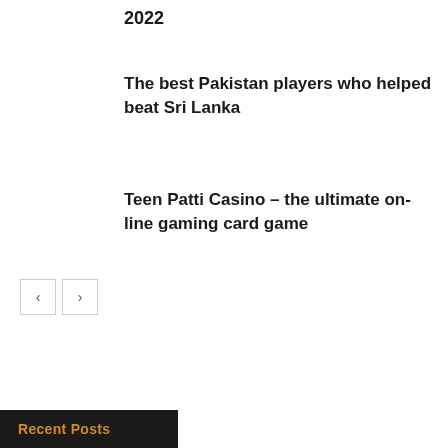2022
The best Pakistan players who helped beat Sri Lanka
Teen Patti Casino – the ultimate on-line gaming card game
[Figure (other): Navigation previous and next arrow buttons]
Recent Posts